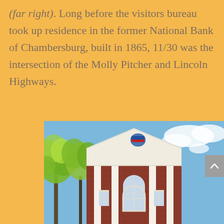(far right). Long before the visitors bureau took up residence in the former National Bank of Chambersburg, built in 1865, 11/30 was the intersection of the Molly Pitcher and Lincoln Highways.
[Figure (photo): Photo of a classic brick bank building with white pediment/columns, a colorful logo/emblem in the tympanum, arched window, and green leafy trees in front against a blue sky with white clouds.]